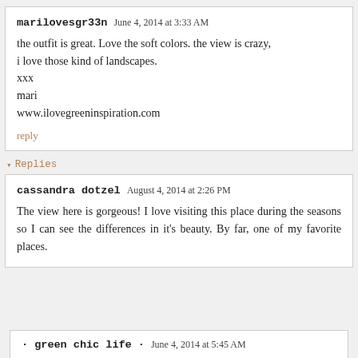marilovesgr33n June 4, 2014 at 3:33 AM
the outfit is great. Love the soft colors. the view is crazy, i love those kind of landscapes.
xxx
mari
www.ilovegreeninspiration.com
reply
▾ Replies
cassandra dotzel August 4, 2014 at 2:26 PM
The view here is gorgeous! I love visiting this place during the seasons so I can see the differences in it's beauty. By far, one of my favorite places.
· green chic life · June 4, 2014 at 5:45 AM